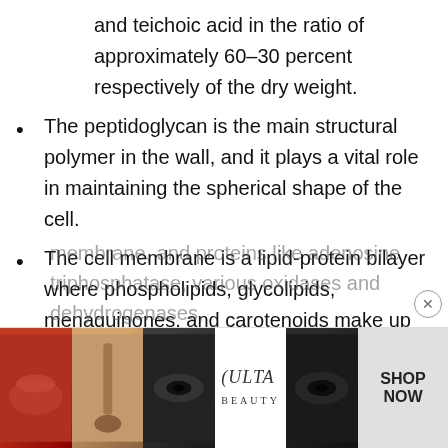and teichoic acid in the ratio of approximately 60–30 percent respectively of the dry weight.
The peptidoglycan is the main structural polymer in the wall, and it plays a vital role in maintaining the spherical shape of the cell.
The cell membrane is a lipid-protein bilayer where phospholipids, glycolipids, menaquinones, and carotenoids make up the major lipid components of the
membrane, and proteins like adenosine triphosphatase, various oxidases and dehydrogenases,
[Figure (other): Ulta Beauty advertisement banner showing makeup product imagery with SHOP NOW call to action]